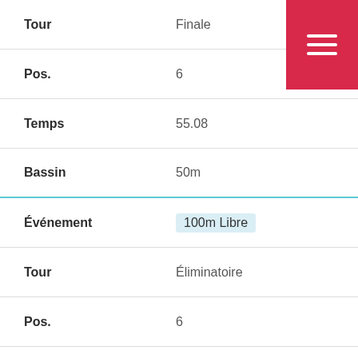| Label | Value |
| --- | --- |
| Tour | Finale |
| Pos. | 6 |
| Temps | 55.08 |
| Bassin | 50m |
| Événement | 100m Libre |
| Tour | Éliminatoire |
| Pos. | 6 |
| Temps | 55.15 |
| Bassin | 50m |